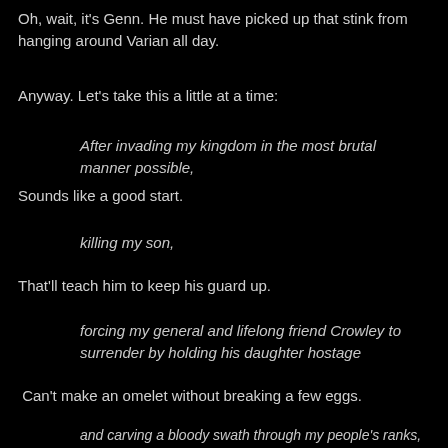Oh, wait, it's Genn. He must have picked up that stink from hanging around Varian all day.
Anyway. Let's take this a little at a time:
After invading my kingdom in the most brutal manner possible,
Sounds like a good start.
killing my son,
That'll teach him to keep his guard up.
forcing my general and lifelong friend Crowley to surrender by holding his daughter hostage
Can't make an omelet without breaking a few eggs.
and carving a bloody swath through my people's ranks,
Not seeing a problem so far.